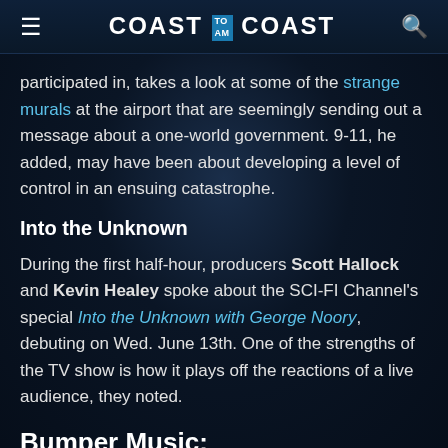≡  COAST TO COAST AM  🔍
participated in, takes a look at some of the strange murals at the airport that are seemingly sending out a message about a one-world government. 9-11, he added, may have been about developing a level of control in an ensuing catastrophe.
Into the Unknown
During the first half-hour, producers Scott Hallock and Kevin Healey spoke about the SCI-FI Channel's special Into the Unknown with George Noory, debuting on Wed. June 13th. One of the strengths of the TV show is how it plays off the reactions of a live audience, they noted.
Bumper Music: